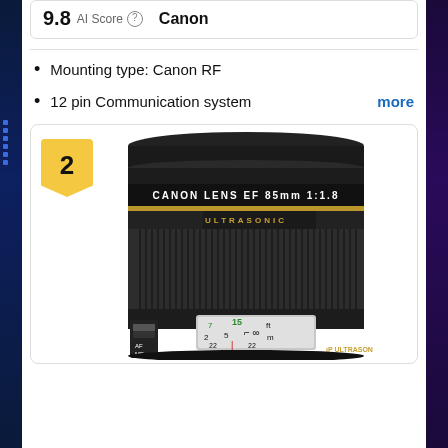9.8   AI Score   Canon
Mounting type: Canon RF
12 pin Communication system   more
[Figure (photo): Canon EF 85mm f/1.8 USM camera lens with Ultrasonic label, focus ring, and AF/MF switch visible, labeled as product #2]